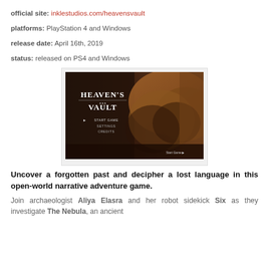official site: inklestudios.com/heavensvault
platforms: PlayStation 4 and Windows
release date: April 16th, 2019
status: released on PS4 and Windows
[Figure (screenshot): Heaven's Vault game title screen showing 'HEAVEN'S VAULT' logo with menu options START GAME, SETTINGS, CREDITS on a dark background with desert rocky landscape. 'Start Game' button visible in bottom right.]
Uncover a forgotten past and decipher a lost language in this open-world narrative adventure game.
Join archaeologist Aliya Elasra and her robot sidekick Six as they investigate The Nebula, an ancient